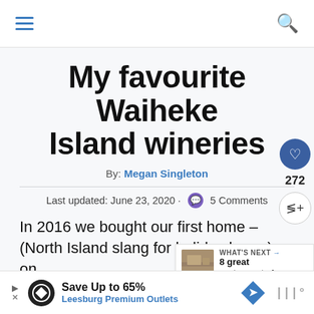Navigation bar with hamburger menu and search icon
My favourite Waiheke Island wineries
By: Megan Singleton
Last updated: June 23, 2020 · 5 Comments
In 2016 we bought our first home – (North Island slang for holiday home) on Waiheke Island!
[Figure (photo): What's next panel with thumbnail image linking to 8 great restaurants i...]
WHAT'S NEXT → 8 great restaurants i...
[Figure (infographic): Advertisement banner: Save Up to 65% Leesburg Premium Outlets]